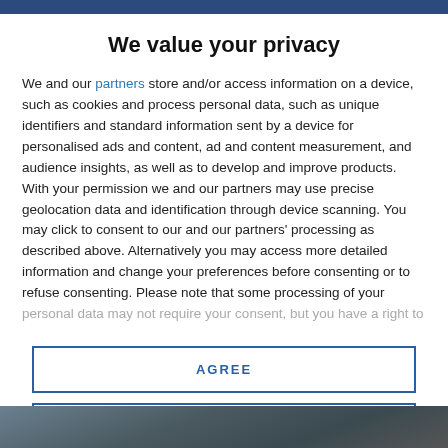We value your privacy
We and our partners store and/or access information on a device, such as cookies and process personal data, such as unique identifiers and standard information sent by a device for personalised ads and content, ad and content measurement, and audience insights, as well as to develop and improve products. With your permission we and our partners may use precise geolocation data and identification through device scanning. You may click to consent to our and our partners' processing as described above. Alternatively you may access more detailed information and change your preferences before consenting or to refuse consenting. Please note that some processing of your personal data may not require your consent, but you have a right to
AGREE
MORE OPTIONS
[Figure (photo): Bottom portion of a photo partially visible at the bottom of the page]